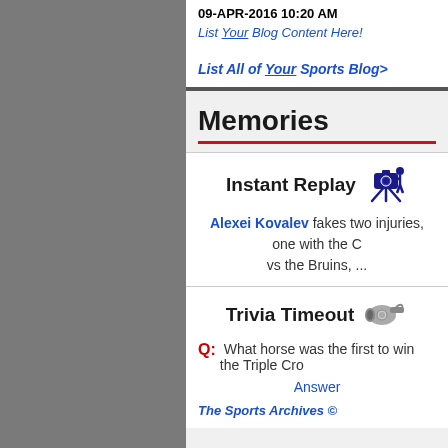09-APR-2016 10:20 AM
List Your Blog Content Here!
List All of Your Sports Blog>
Memories
[Figure (illustration): Camera on tripod icon for Instant Replay section]
Instant Replay
Alexei Kovalev fakes two injuries, one with the C vs the Bruins, ...
[Figure (illustration): Whistle icon for Trivia Timeout section]
Trivia Timeout
Q: What horse was the first to win the Triple Cro
Answer
The Sports Archives ©